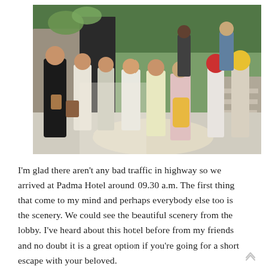[Figure (photo): A group of young women walking outdoors at what appears to be the entrance of Padma Hotel. They are carrying bags and luggage, with lush green trees and stone walls in the background. Some women are wearing hijabs, and the setting appears to be a sunny day.]
I'm glad there aren't any bad traffic in highway so we arrived at Padma Hotel around 09.30 a.m. The first thing that come to my mind and perhaps everybody else too is the scenery. We could see the beautiful scenery from the lobby. I've heard about this hotel before from my friends and no doubt it is a great option if you're going for a short escape with your beloved.